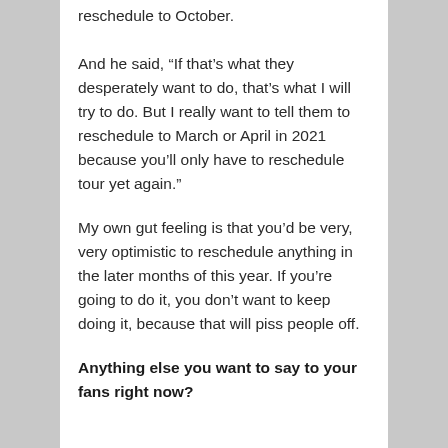reschedule to October.
And he said, “If that’s what they desperately want to do, that’s what I will try to do. But I really want to tell them to reschedule to March or April in 2021 because you’ll only have to reschedule tour yet again.”
My own gut feeling is that you’d be very, very optimistic to reschedule anything in the later months of this year. If you’re going to do it, you don’t want to keep doing it, because that will piss people off.
Anything else you want to say to your fans right now?